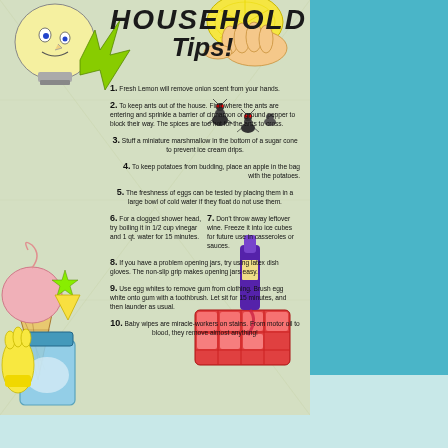HOUSEHOLD Tips!
1. Fresh Lemon will remove onion scent from your hands.
2. To keep ants out of the house. Find where the ants are entering and sprinkle a barrier of cinnamon or ground pepper to block their way. The spices are too hot for the ants to cross.
3. Stuff a miniature marshmallow in the bottom of a sugar cone to prevent ice cream drips.
4. To keep potatoes from budding, place an apple in the bag with the potatoes.
5. The freshness of eggs can be tested by placing them in a large bowl of cold water if they float do not use them.
6. For a clogged shower head, try boiling it in 1/2 cup vinegar and 1 qt. water for 15 minutes.
7. Don't throw away leftover wine. Freeze it into ice cubes for future use in casseroles or sauces.
8. If you have a problem opening jars, try using latex dish gloves. The non-slip grip makes opening jars easy.
9. Use egg whites to remove gum from clothing. Brush egg white onto gum with a toothbrush. Let sit for 15 minutes, and then launder as usual.
10. Baby wipes are miracle-workers on stains. From motor oil to blood, they remove almost anything!
[Figure (illustration): Colorful household tips infographic poster with cartoon illustrations including a light bulb character, lemon, ants, ice cream cone, wine bottle with ice cube tray, and jar with gloves]